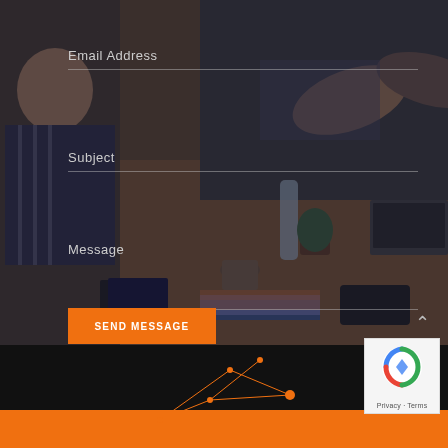[Figure (photo): Dark-overlay business meeting photo showing people shaking hands across a conference table with laptops, notebooks, and office items. Serves as background for a contact form.]
Email Address
Subject
Message
SEND MESSAGE
[Figure (infographic): Orange network/constellation line graphic on dark background in footer area]
[Figure (logo): Google reCAPTCHA badge with blue/red/green circular arrow icon, Privacy and Terms links]